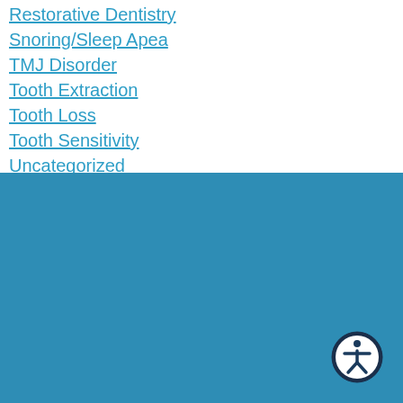Restorative Dentistry
Snoring/Sleep Apea
TMJ Disorder
Tooth Extraction
Tooth Loss
Tooth Sensitivity
Uncategorized
Wisdom Teeth
[Figure (illustration): Blue footer section with accessibility icon (person in circle) in bottom-right corner]